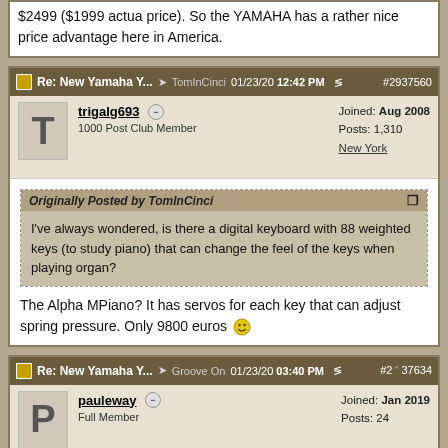$2499 ($1999 actua price). So the YAMAHA has a rather nice price advantage here in America.
Re: New Yamaha Y... TomInCinci 01/23/20 12:42 PM #2937560
trigalg693 - Joined: Aug 2008 - 1000 Post Club Member - Posts: 1,310 - New York
Originally Posted by TomInCinci
I've always wondered, is there a digital keyboard with 88 weighted keys (to study piano) that can change the feel of the keys when playing organ?
The Alpha MPiano? It has servos for each key that can adjust spring pressure. Only 9800 euros 🙂
Re: New Yamaha Y... Groove On 01/23/20 03:40 PM #2937634
pauleway - Joined: Jan 2019 - Full Member - Posts: 24